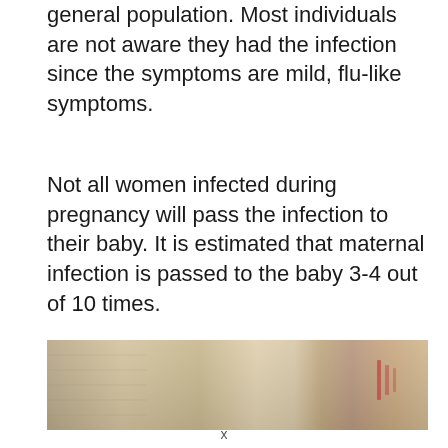general population. Most individuals are not aware they had the infection since the symptoms are mild, flu-like symptoms.
Not all women infected during pregnancy will pass the infection to their baby. It is estimated that maternal infection is passed to the baby 3-4 out of 10 times.
[Figure (photo): Close-up photo of a newborn baby wrapped in a light-colored knit blanket or clothing, with a reddish detail visible.]
x